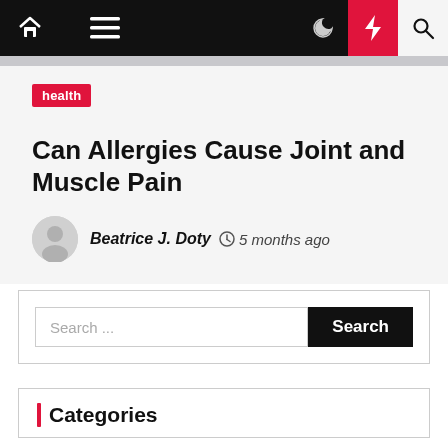Navigation bar with home, menu, moon, bolt, and search icons
health
Can Allergies Cause Joint and Muscle Pain
Beatrice J. Doty  5 months ago
Search ...
Categories